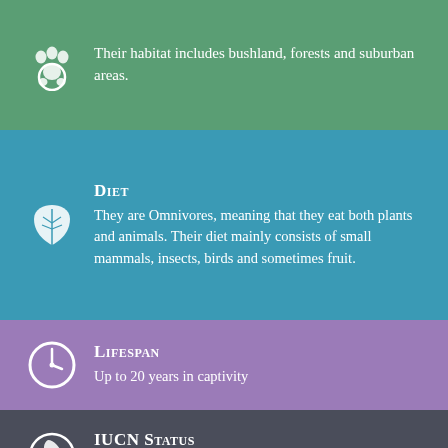The Pardine Genet is native to West Africa. Their habitat includes bushland, forests and suburban areas.
Diet
They are Omnivores, meaning that they eat both plants and animals. Their diet mainly consists of small mammals, insects, birds and sometimes fruit.
Lifespan
Up to 20 years in captivity
IUCN Status
This species is listed as a LEAST CONCERN on the IUCN Red List of Threatened Species.